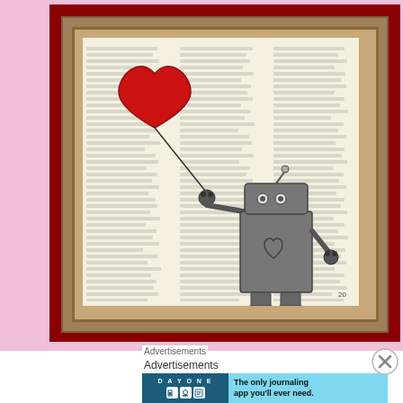[Figure (illustration): A framed artwork print on a vintage dictionary page background. A cartoon-style robot holding a red heart-shaped balloon on a string. The robot has a rectangular head with two eyes, an antenna with a small heart, a body with a heart engraved on the chest, and claw-like hands. The print is matted in a dark red background and a wooden brown frame. A page number '20' appears at the bottom right of the dictionary page.]
Advertisements
Advertisements
[Figure (screenshot): Advertisement banner for DAY ONE journaling app. Left side shows dark blue background with 'DAY ONE' text and three app icons. Right side on light blue background reads 'The only journaling app you'll ever need.']